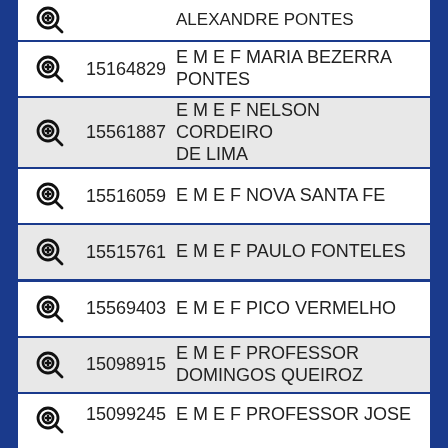15164829 E M E F MARIA BEZERRA PONTES
15561887 E M E F NELSON CORDEIRO DE LIMA
15516059 E M E F NOVA SANTA FE
15515761 E M E F PAULO FONTELES
15569403 E M E F PICO VERMELHO
15098915 E M E F PROFESSOR DOMINGOS QUEIROZ
15099245 E M E F PROFESSOR JOSE